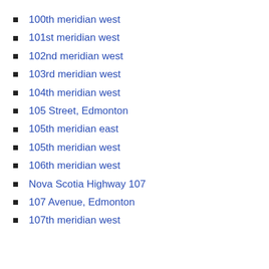100th meridian west
101st meridian west
102nd meridian west
103rd meridian west
104th meridian west
105 Street, Edmonton
105th meridian east
105th meridian west
106th meridian west
Nova Scotia Highway 107
107 Avenue, Edmonton
107th meridian west